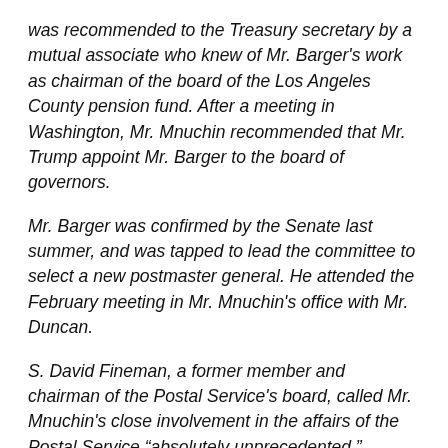was recommended to the Treasury secretary by a mutual associate who knew of Mr. Barger's work as chairman of the board of the Los Angeles County pension fund. After a meeting in Washington, Mr. Mnuchin recommended that Mr. Trump appoint Mr. Barger to the board of governors.
Mr. Barger was confirmed by the Senate last summer, and was tapped to lead the committee to select a new postmaster general. He attended the February meeting in Mr. Mnuchin's office with Mr. Duncan.
S. David Fineman, a former member and chairman of the Postal Service's board, called Mr. Mnuchin's close involvement in the affairs of the Postal Service “absolutely unprecedented.”
During his tenure in the Clinton and George W. Bush